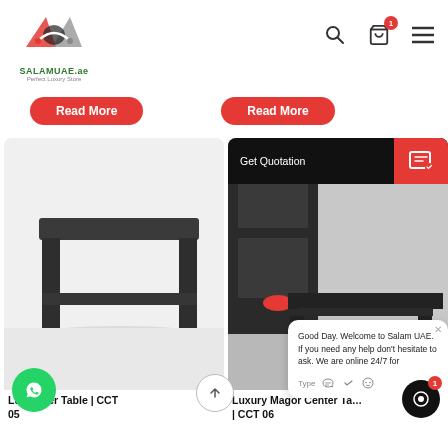[Figure (logo): SALAMUAE.ae logo with handshake icon and tagline 'Perfect Luxury Store']
[Figure (screenshot): Two 'Read More' red buttons side by side]
[Figure (photo): Dark gray modern coffee/center table product image (CCT 05)]
[Figure (screenshot): Product image with 'Get Quotation' overlay bar and chat bubble saying 'Good Day. Welcome to Salam UAE. If you need any help don't hesitate to ask. We are online 24/7 for']
Lu... enter Table | CCT 05
Luxury Magor Center Table | CCT 06